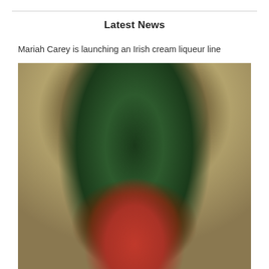Latest News
Mariah Carey is launching an Irish cream liqueur line
[Figure (photo): Mariah Carey standing in front of a large decorated Christmas tree with gold ornaments and warm lights, wearing a red outfit, in an elegant interior setting with arched architectural details and candle sconces on the walls.]